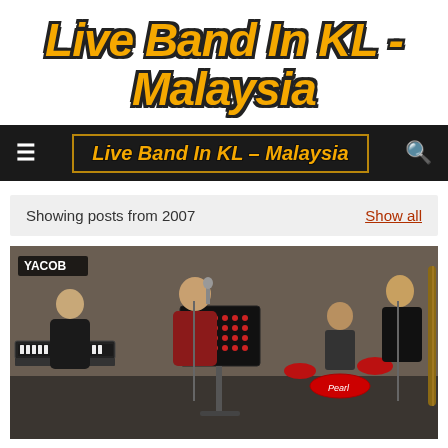Live Band In KL - Malaysia
Live Band In KL – Malaysia
Showing posts from 2007
Show all
[Figure (photo): Band performing live at a wedding event in KL. Multiple musicians visible including a female singer, keyboardist, drummer, and bassist. A music stand is in the foreground. YACOB label visible top left.]
29th Dec 07 – Wedding of Dennie and